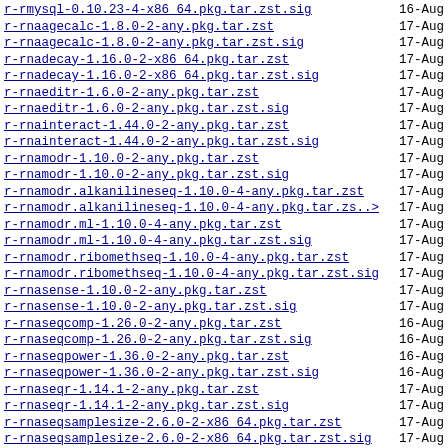r-rmysql-0.10.23-4-x86_64.pkg.tar.zst.sig  16-Aug
r-rnaagecalc-1.8.0-2-any.pkg.tar.zst  17-Aug
r-rnaagecalc-1.8.0-2-any.pkg.tar.zst.sig  17-Aug
r-rnadecay-1.16.0-2-x86_64.pkg.tar.zst  17-Aug
r-rnadecay-1.16.0-2-x86_64.pkg.tar.zst.sig  17-Aug
r-rnaeditr-1.6.0-2-any.pkg.tar.zst  17-Aug
r-rnaeditr-1.6.0-2-any.pkg.tar.zst.sig  17-Aug
r-rnainteract-1.44.0-2-any.pkg.tar.zst  17-Aug
r-rnainteract-1.44.0-2-any.pkg.tar.zst.sig  17-Aug
r-rnamodr-1.10.0-2-any.pkg.tar.zst  17-Aug
r-rnamodr-1.10.0-2-any.pkg.tar.zst.sig  17-Aug
r-rnamodr.alkanilineseq-1.10.0-4-any.pkg.tar.zst  17-Aug
r-rnamodr.alkanilineseq-1.10.0-4-any.pkg.tar.zs..>  17-Aug
r-rnamodr.ml-1.10.0-4-any.pkg.tar.zst  17-Aug
r-rnamodr.ml-1.10.0-4-any.pkg.tar.zst.sig  17-Aug
r-rnamodr.ribomethseq-1.10.0-4-any.pkg.tar.zst  17-Aug
r-rnamodr.ribomethseq-1.10.0-4-any.pkg.tar.zst.sig  17-Aug
r-rnasense-1.10.0-2-any.pkg.tar.zst  17-Aug
r-rnasense-1.10.0-2-any.pkg.tar.zst.sig  17-Aug
r-rnaseqcomp-1.26.0-2-any.pkg.tar.zst  16-Aug
r-rnaseqcomp-1.26.0-2-any.pkg.tar.zst.sig  16-Aug
r-rnaseqpower-1.36.0-2-any.pkg.tar.zst  16-Aug
r-rnaseqpower-1.36.0-2-any.pkg.tar.zst.sig  16-Aug
r-rnaseqr-1.14.1-2-any.pkg.tar.zst  17-Aug
r-rnaseqr-1.14.1-2-any.pkg.tar.zst.sig  17-Aug
r-rnaseqsamplesize-2.6.0-2-x86_64.pkg.tar.zst  17-Aug
r-rnaseqsamplesize-2.6.0-2-x86_64.pkg.tar.zst.sig  17-Aug
r-rnaseqsamplesizedata-1.28.0-2-any.pkg.tar.zst  16-Aug
r-rnaseqsamplesizedata-1.28.0-2-any.pkg.tar.zst..>  16-Aug
r-rnbeads-2.14.0-2-any.pkg.tar.zst  17-Aug